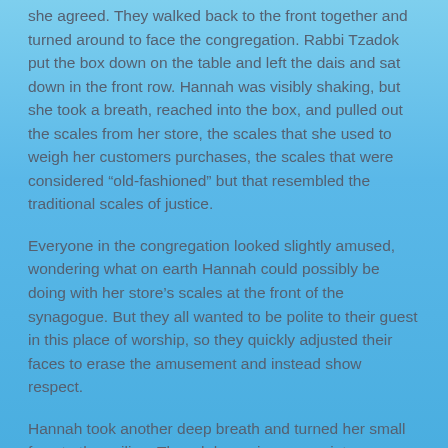she agreed.  They walked back to the front together and turned around to face the congregation.  Rabbi Tzadok put the box down on the table and left the dais and sat down in the front row.  Hannah was visibly shaking, but she took a breath, reached into the box, and pulled out the scales from her store, the scales that she used to weigh her customers purchases, the scales that were considered “old-fashioned” but that resembled the traditional scales of justice.
Everyone in the congregation looked slightly amused, wondering what on earth Hannah could possibly be doing with her store’s scales at the front of the synagogue.  But they all wanted to be polite to their guest in this place of worship, so they quickly adjusted their faces to erase the amusement and instead show respect.
Hannah took another deep breath and turned her small face to the ceiling.  Though her voice was quiet, somehow it could be heard easily throughout the sanctuary.  “Allah, or Adonai as my hosts call you, God, you know I am a simple woman.  I do not usually lead prayers or speak in front of congregations.  I run my store and live a modest life.  The only reason that I can think of that you wanted me to lead this prayer is that you know that I